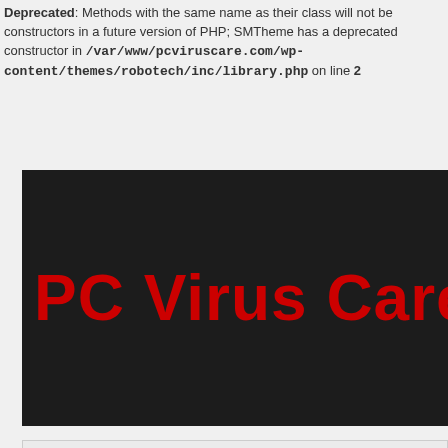Deprecated: Methods with the same name as their class will not be constructors in a future version of PHP; SMTheme has a deprecated constructor in /var/www/pcviruscare.com/wp-content/themes/robotech/inc/library.php on line 2
[Figure (logo): PC Virus Care website logo — dark/black background with large bold red text reading 'PC Virus Care']
Go to ...